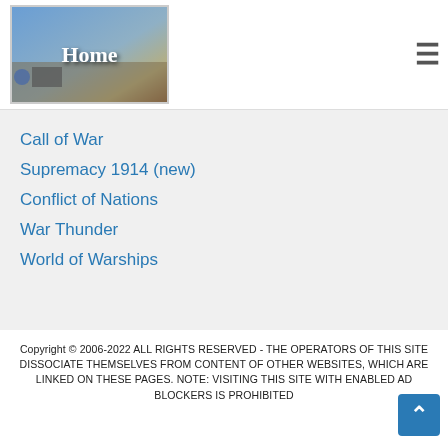Home
Call of War
Supremacy 1914 (new)
Conflict of Nations
War Thunder
World of Warships
Copyright © 2006-2022 ALL RIGHTS RESERVED - THE OPERATORS OF THIS SITE DISSOCIATE THEMSELVES FROM CONTENT OF OTHER WEBSITES, WHICH ARE LINKED ON THESE PAGES. NOTE: VISITING THIS SITE WITH ENABLED AD BLOCKERS IS PROHIBITED